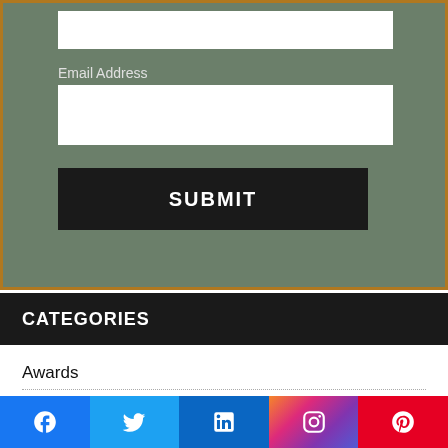[Figure (screenshot): Email subscription form with a text input box at top (partially visible), an Email Address label, a white input field, and a black SUBMIT button, all on a sage green background with an orange border.]
Email Address
SUBMIT
CATEGORIES
Awards
Crew
Film
Gear
[Figure (screenshot): Social media share bar with icons for Facebook, Twitter, LinkedIn, Instagram, and Pinterest.]